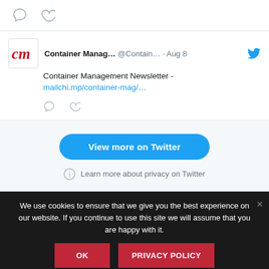[Figure (screenshot): Twitter/X social media feed showing tweet icons (comment and heart) at top]
[Figure (screenshot): Tweet card from Container Management (@Contain...) dated Aug 8 with Twitter bird icon, CM logo, text 'Container Management Newsletter - mailchi.mp/container-mag/...' link, and comment/heart icons]
[Figure (screenshot): Gray section with blue 'View more on Twitter' button and privacy info row]
We use cookies to ensure that we give you the best experience on our website. If you continue to use this site we will assume that you are happy with it.
OK | PRIVACY POLICY